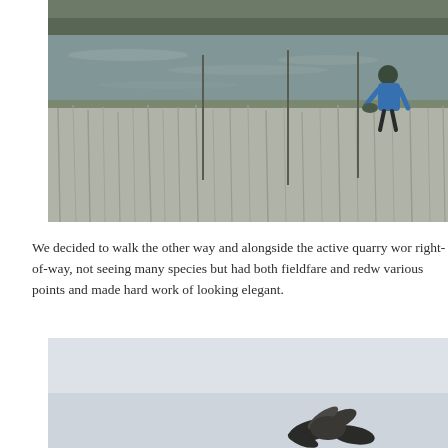[Figure (photo): Outdoor photograph of a wetland or pond with dry grasses and reeds in the foreground and background. A person wearing a blue jacket is bending down near the water's edge on the right side. The scene appears to be in winter or early spring with bare vegetation.]
We decided to walk the other way and alongside the active quarry wor right-of-way, not seeing many species but had both fieldfare and redw various points and made hard work of looking elegant.
[Figure (photo): A partial photograph showing what appears to be a bird (possibly a fieldfare or redwing) against a light grey/white background, with only the lower portion of the image visible.]